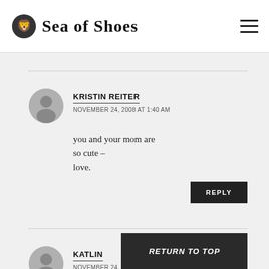Sea of Shoes
KRISTIN REITER
NOVEMBER 24, 2008 AT 1:40 AM
you and your mom are so cute –
love.
REPLY
KATLIN
NOVEMBER 24, 2008 AT 2:50 AM
RETURN TO TOP